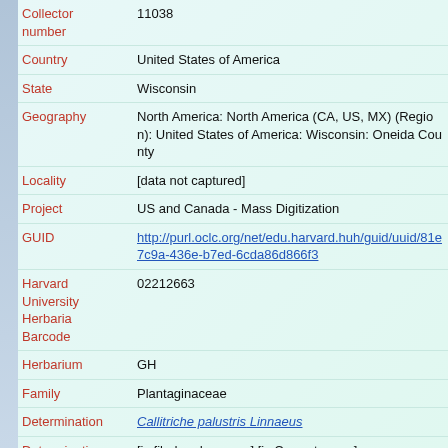| Field | Value |
| --- | --- |
| Collector number | 11038 |
| Country | United States of America |
| State | Wisconsin |
| Geography | North America: North America (CA, US, MX) (Region): United States of America: Wisconsin: Oneida County |
| Locality | [data not captured] |
| Project | US and Canada - Mass Digitization |
| GUID | http://purl.oclc.org/net/edu.harvard.huh/guid/uuid/81e7c9a-436e-b7ed-6cda86d866f3 |
| Harvard University Herbaria Barcode | 02212663 |
| Herbarium | GH |
| Family | Plantaginaceae |
| Determination | Callitriche palustris Linnaeus |
| Determination Remarks | [is filed under name] [is Current name] |
| Sex | not determined |
| Phenology | NotDetermined |
| Preparation | Sheet |